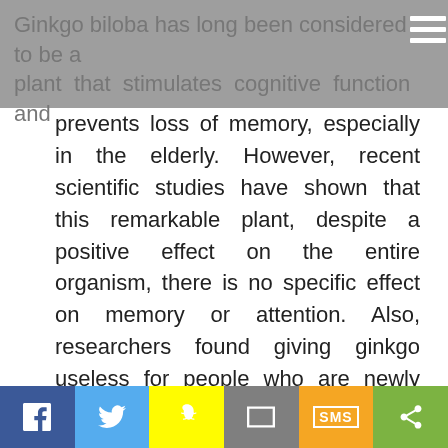Ginkgo biloba has long been considered to be a plant that stimulates cognitive function and
prevents loss of memory, especially in the elderly. However, recent scientific studies have shown that this remarkable plant, despite a positive effect on the entire organism, there is no specific effect on memory or attention. Also, researchers found giving ginkgo useless for people who are newly diagnosed Alzheimer's disease.
[Figure (screenshot): Pin it button - social sharing widget with red italic 'Pinit' text and border]
[Figure (screenshot): Tweet button - blue rounded button with Twitter bird icon and 'Tweet' text]
Comments
[Figure (infographic): Bottom social sharing bar with Facebook, Twitter, Snapchat, Email, SMS, and Share buttons]